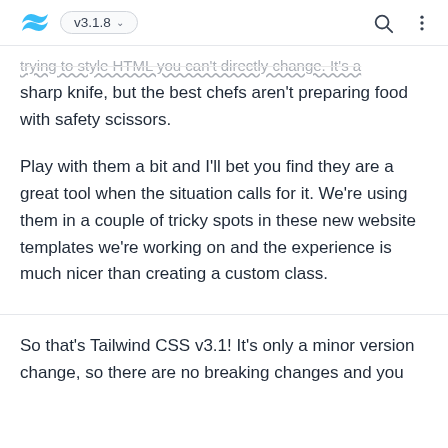v3.1.8
trying to style HTML you can't directly change. It's a sharp knife, but the best chefs aren't preparing food with safety scissors.
Play with them a bit and I'll bet you find they are a great tool when the situation calls for it. We're using them in a couple of tricky spots in these new website templates we're working on and the experience is much nicer than creating a custom class.
So that's Tailwind CSS v3.1! It's only a minor version change, so there are no breaking changes and you